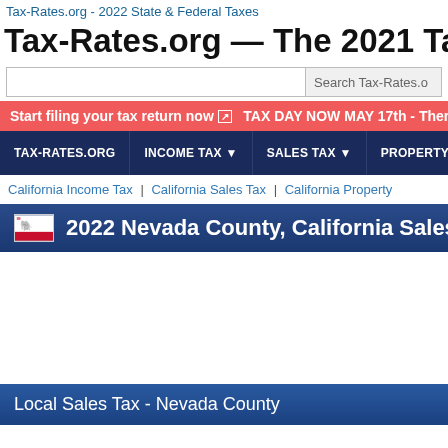Tax-Rates.org - 2022 State & Federal Taxes
Tax-Rates.org — The 2021 Tax Resource
Search Tax-Rates.o
Start filing your tax return now ↗  TAX DAY NOW MAY 17th - Ther
TAX-RATES.ORG  INCOME TAX ▾  SALES TAX ▾  PROPERTY TAX
California Income Tax | California Sales Tax | California Property
2022 Nevada County, California Sales Ta
Local Sales Tax - Nevada County